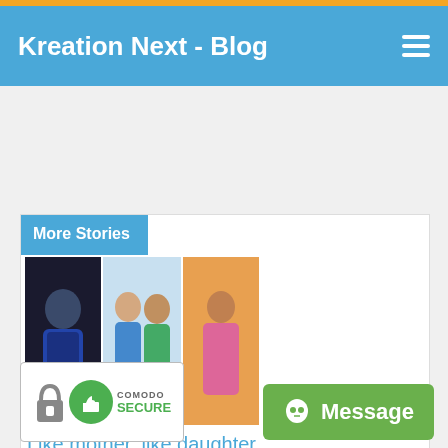Kreation Next - Blog
More Stories
[Figure (photo): Three women posing together — composite of three photos]
Like mother, like daughter
[Figure (logo): Comodo Secure badge with thumbs up icon and lock]
Message